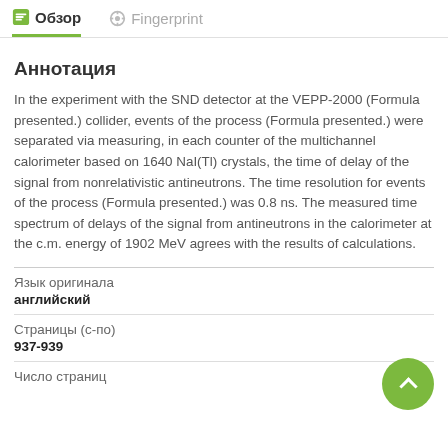Обзор   Fingerprint
Аннотация
In the experiment with the SND detector at the VEPP-2000 (Formula presented.) collider, events of the process (Formula presented.) were separated via measuring, in each counter of the multichannel calorimeter based on 1640 NaI(Tl) crystals, the time of delay of the signal from nonrelativistic antineutrons. The time resolution for events of the process (Formula presented.) was 0.8 ns. The measured time spectrum of delays of the signal from antineutrons in the calorimeter at the c.m. energy of 1902 MeV agrees with the results of calculations.
| Язык оригинала |  |
| --- | --- |
| английский |  |
| Страницы (с-по) |  |
| 937-939 |  |
| Число страниц |  |